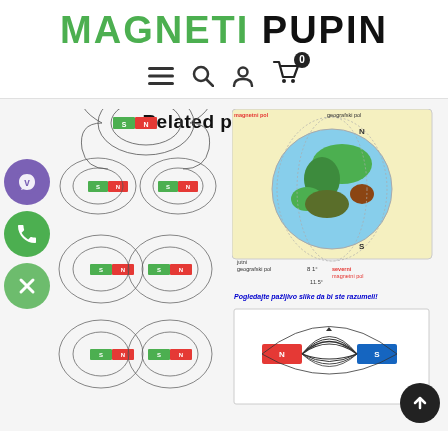MAGNETI PUPIN
[Figure (screenshot): Navigation icons: hamburger menu, search, user account, shopping cart with badge showing 0]
Related products
[Figure (illustration): Left column: diagrams of magnetic field lines around bar magnets stacked vertically. Right column top: globe showing Earth's magnetic poles with labels 'magnetni pol', 'geografski pol', 'jutni geografski pol', 'severni magnetni pol', angle 11.5 degrees. Right column middle: caption in blue/orange text 'Pogledajte pazljivo slike da bi ste razumeli!' Right column bottom: illustration of magnetic field lines between two opposing magnet poles (red N and blue S).]
[Figure (illustration): Floating contact buttons on left side: purple Viber button, green phone button, green close/X button. Black scroll-to-top button on lower right.]